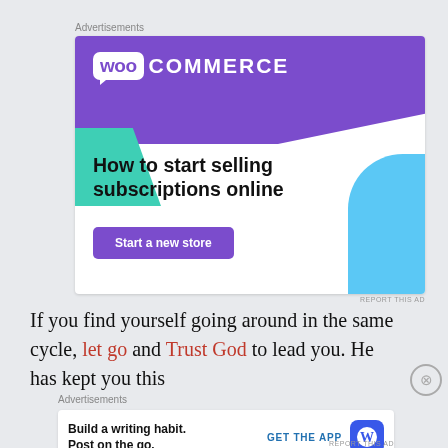Advertisements
[Figure (illustration): WooCommerce advertisement banner with purple background, teal triangle shape, blue curved shape, WooCommerce logo, headline 'How to start selling subscriptions online', and a purple 'Start a new store' button]
REPORT THIS AD
If you find yourself going around in the same cycle, let go and Trust God to lead you.  He has kept you this
Advertisements
[Figure (illustration): WordPress.com advertisement with text 'Build a writing habit. Post on the go.' with 'GET THE APP' CTA and WordPress logo]
REPORT THIS AD